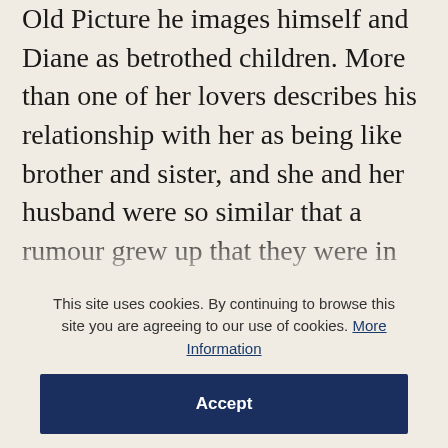Old Picture he images himself and Diane as betrothed children. More than one of her lovers describes his relationship with her as being like brother and sister, and she and her husband were so similar that a rumour grew up that they were in fact first cousins who had married despite family opposition. Diane was educated according to the Ethical Culture system of Felix Adler, which stressed the love of learning and the development of creativity. Later, she spent the summer of 1938 at the Cummington School of the Arts, a kind of summer-camp for simple-lifers, where aspiring
This site uses cookies. By continuing to browse this site you are agreeing to our use of cookies. More Information
Accept